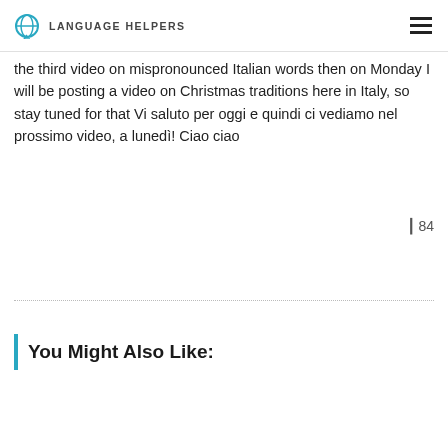Language Helpers
the third video on mispronounced Italian words then on Monday I will be posting a video on Christmas traditions here in Italy, so stay tuned for that Vi saluto per oggi e quindi ci vediamo nel prossimo video, a lunedì! Ciao ciao
84
You Might Also Like: